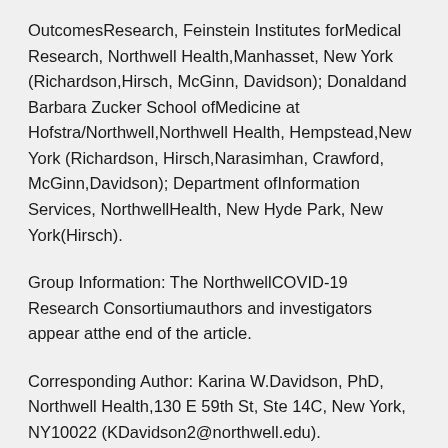OutcomesResearch, Feinstein Institutes forMedical Research, Northwell Health,Manhasset, New York (Richardson,Hirsch, McGinn, Davidson); Donaldand Barbara Zucker School ofMedicine at Hofstra/Northwell,Northwell Health, Hempstead,New York (Richardson, Hirsch,Narasimhan, Crawford, McGinn,Davidson); Department ofInformation Services, NorthwellHealth, New Hyde Park, New York(Hirsch).
Group Information: The NorthwellCOVID-19 Research Consortiumauthors and investigators appear atthe end of the article.
Corresponding Author: Karina W.Davidson, PhD, Northwell Health,130 E 59th St, Ste 14C, New York, NY10022 (KDavidson2@northwell.edu).